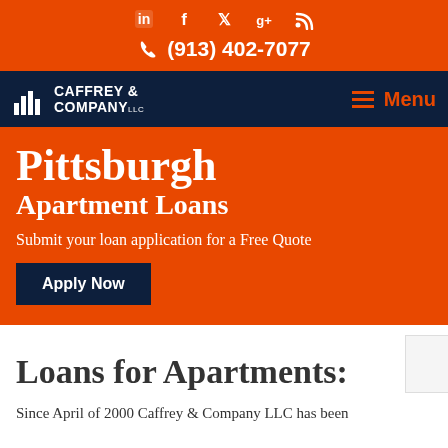LinkedIn Facebook Twitter Google+ RSS (913) 402-7077
[Figure (logo): Caffrey & Company LLC logo with bar chart icon on dark navy navigation bar]
Pittsburgh Apartment Loans
Submit your loan application for a Free Quote
Apply Now
Loans for Apartments:
Since April of 2000 Caffrey & Company LLC has been